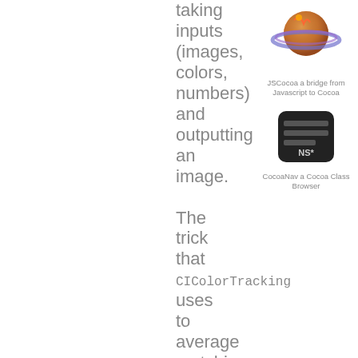taking inputs (images, colors, numbers) and outputting an image.

The trick that CIColorTracking uses to average matching points is to go over ALL
[Figure (illustration): A planet with rings (Saturn-like) with colorful swirls and a small figure, representing JSCocoa]
JSCocoa a bridge from Javascript to Cocoa
[Figure (screenshot): A dark calculator/browser app icon with NS* text on it, representing CocoaNev]
CocoaNav a Cocoa Class Browser